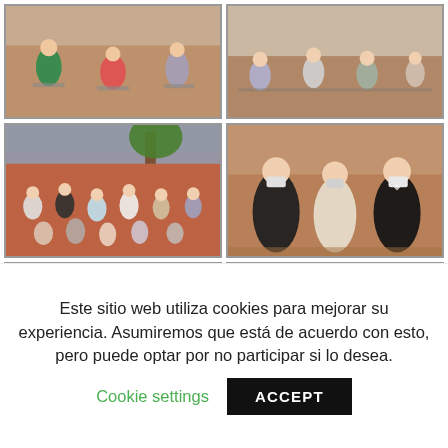[Figure (photo): Outdoor graduation ceremony, people seated in chairs with social distancing, colorful dresses visible]
[Figure (photo): Outdoor graduation ceremony, people seated in chairs from a wider angle]
[Figure (photo): Outdoor graduation ceremony in a large courtyard with red brick building, crowd seated]
[Figure (photo): Close-up of graduates in formal wear and masks talking to each other]
[Figure (photo): Students in masks seated at graduation ceremony outdoors, brick background]
[Figure (photo): Students in masks seated at graduation ceremony, one holding a tablet or booklet]
[Figure (photo): Partial view of outdoor graduation ceremony crowd]
[Figure (photo): Partial view of outdoor graduation ceremony crowd, seated audience]
Este sitio web utiliza cookies para mejorar su experiencia. Asumiremos que está de acuerdo con esto, pero puede optar por no participar si lo desea.
Cookie settings
ACCEPT